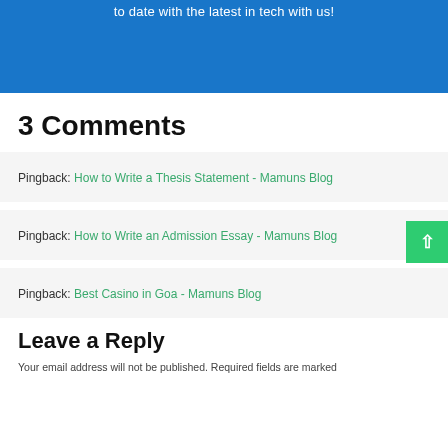to date with the latest in tech with us!
3 Comments
Pingback: How to Write a Thesis Statement - Mamuns Blog
Pingback: How to Write an Admission Essay - Mamuns Blog
Pingback: Best Casino in Goa - Mamuns Blog
Leave a Reply
Your email address will not be published. Required fields are marked